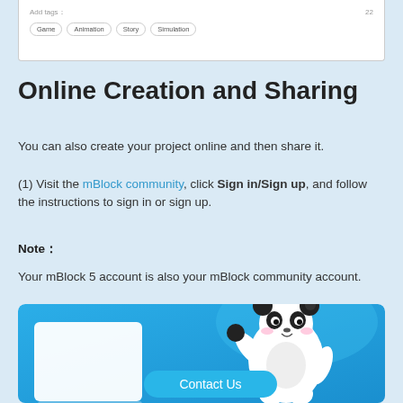[Figure (screenshot): Top portion of a UI panel showing 'Add tags' field with tag pills: Game, Animation, Story, Simulation]
Online Creation and Sharing
You can also create your project online and then share it.
(1) Visit the mBlock community, click Sign in/Sign up, and follow the instructions to sign in or sign up.
Note：
Your mBlock 5 account is also your mBlock community account.
[Figure (screenshot): mBlock community page screenshot showing a panda mascot waving and a 'Contact Us' button on a blue background]